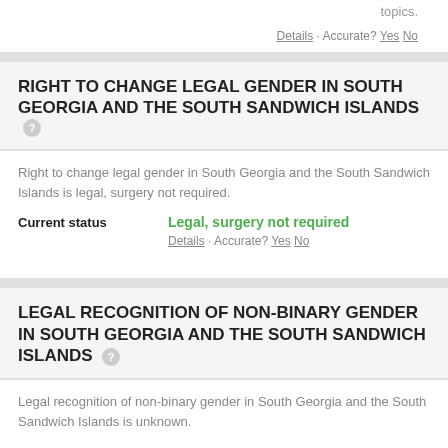topics.
Details · Accurate? Yes No
RIGHT TO CHANGE LEGAL GENDER IN SOUTH GEORGIA AND THE SOUTH SANDWICH ISLANDS
Right to change legal gender in South Georgia and the South Sandwich Islands is legal, surgery not required.
Current status   Legal, surgery not required
Details · Accurate? Yes No
LEGAL RECOGNITION OF NON-BINARY GENDER IN SOUTH GEORGIA AND THE SOUTH SANDWICH ISLANDS
Legal recognition of non-binary gender in South Georgia and the South Sandwich Islands is unknown.